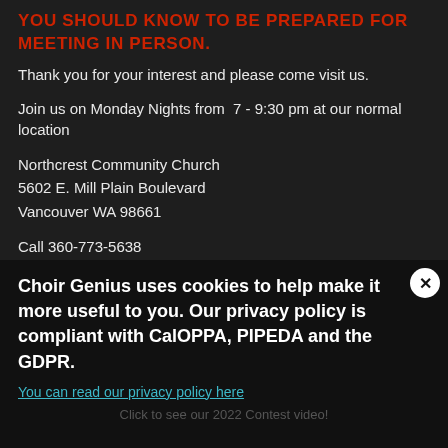YOU SHOULD KNOW TO BE PREPARED FOR MEETING IN PERSON.
Thank you for your interest and please come visit us.
Join us on Monday Nights from  7 - 9:30 pm at our normal location
Northcrest Community Church
5602 E. Mill Plain Boulevard
Vancouver WA 98661
Call 360-773-5638
Email Us
Choir Genius uses cookies to help make it more useful to you. Our privacy policy is compliant with CalOPPA, PIPEDA and the GDPR.
You can read our privacy policy here
Click to see our 2022 Contest video!